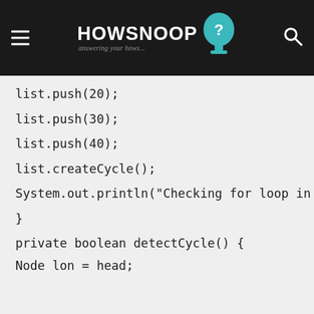HOWSNOOP — answering your hows...
list.push(20);

list.push(30);

list.push(40);

list.createCycle();

System.out.println("Checking for loop in the

}

private boolean detectCycle() {

Node lon = head;